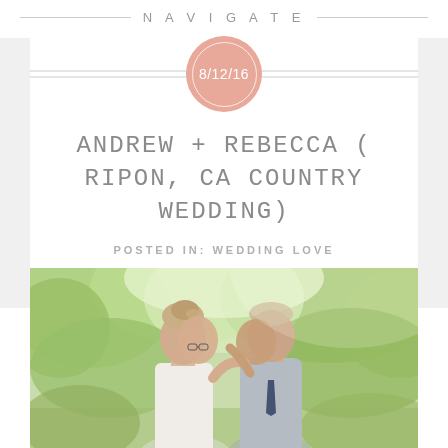NAVIGATE
8/12/16
ANDREW + REBECCA (RIPON, CA COUNTRY WEDDING)
POSTED IN: WEDDING LOVE
[Figure (photo): Wedding couple facing each other with foreheads touching, surrounded by green trees and outdoor nature setting.]